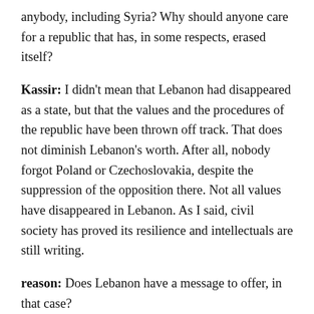anybody, including Syria? Why should anyone care for a republic that has, in some respects, erased itself?
Kassir: I didn't mean that Lebanon had disappeared as a state, but that the values and the procedures of the republic have been thrown off track. That does not diminish Lebanon's worth. After all, nobody forgot Poland or Czechoslovakia, despite the suppression of the opposition there. Not all values have disappeared in Lebanon. As I said, civil society has proved its resilience and intellectuals are still writing.
reason: Does Lebanon have a message to offer, in that case?
Kassir: I don't know, but I am sure the Lebanese deserve a better future. At least, they deserve to find their own way, in accordance with a rich history that cannot be reduced merely to violence. Yes, we were a laboratory for